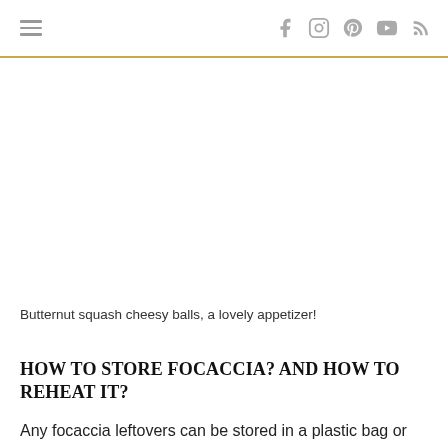≡   f  instagram  pinterest  youtube  rss
Butternut squash cheesy balls, a lovely appetizer!
HOW TO STORE FOCACCIA? AND HOW TO REHEAT IT?
Any focaccia leftovers can be stored in a plastic bag or airtight container in the refrigerator for up to 5 days/1 week. To enjoy it again, warm the